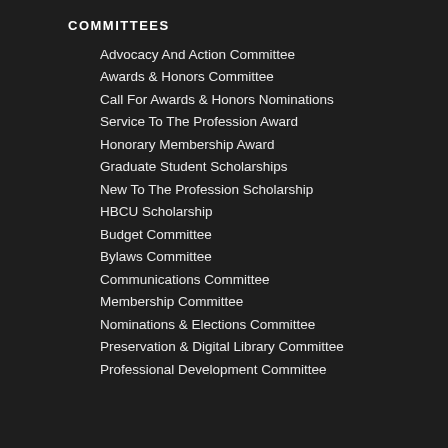COMMITTEES
Advocacy And Action Committee
Awards & Honors Committee
Call For Awards & Honors Nominations
Service To The Profession Award
Honorary Membership Award
Graduate Student Scholarships
New To The Profession Scholarship
HBCU Scholarship
Budget Committee
Bylaws Committee
Communications Committee
Membership Committee
Nominations & Elections Committee
Preservation & Digital Library Committee
Professional Development Committee